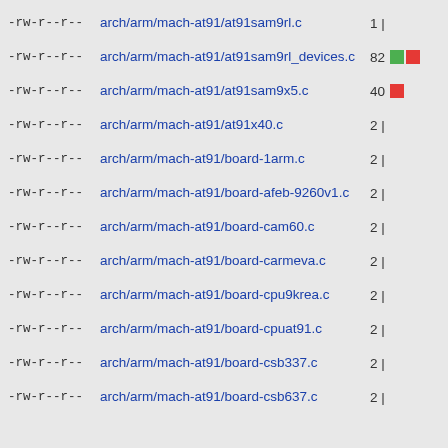-rw-r--r-- arch/arm/mach-at91/at91sam9rl.c 1 |
-rw-r--r-- arch/arm/mach-at91/at91sam9rl_devices.c 82 [green][red]
-rw-r--r-- arch/arm/mach-at91/at91sam9x5.c 40 [red]
-rw-r--r-- arch/arm/mach-at91/at91x40.c 2 |
-rw-r--r-- arch/arm/mach-at91/board-1arm.c 2 |
-rw-r--r-- arch/arm/mach-at91/board-afeb-9260v1.c 2 |
-rw-r--r-- arch/arm/mach-at91/board-cam60.c 2 |
-rw-r--r-- arch/arm/mach-at91/board-carmeva.c 2 |
-rw-r--r-- arch/arm/mach-at91/board-cpu9krea.c 2 |
-rw-r--r-- arch/arm/mach-at91/board-cpuat91.c 2 |
-rw-r--r-- arch/arm/mach-at91/board-csb337.c 2 |
-rw-r--r-- arch/arm/mach-at91/board-csb637.c 2 |